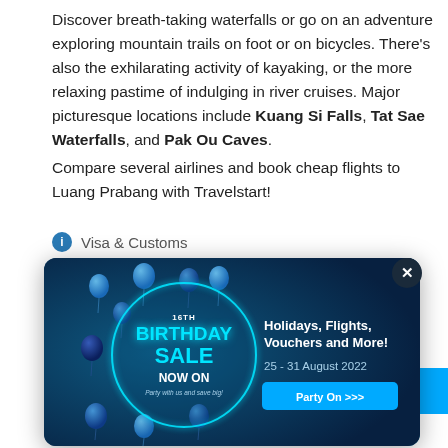Discover breath-taking waterfalls or go on an adventure exploring mountain trails on foot or on bicycles. There's also the exhilarating activity of kayaking, or the more relaxing pastime of indulging in river cruises. Major picturesque locations include Kuang Si Falls, Tat Sae Waterfalls, and Pak Ou Caves.
Compare several airlines and book cheap flights to Luang Prabang with Travelstart!
Visa & Customs
[Figure (infographic): Travelstart 16th Birthday Sale popup advertisement. Left side shows a glowing cyan circle with '16TH BIRTHDAY SALE NOW ON' text and 'Party with us and save big!' subtext, surrounded by blue balloons. Right side shows 'Holidays, Flights, Vouchers and More!' headline, '25 - 31 August 2022' dates, and 'Party On >>>' button. Dark blue gradient background.]